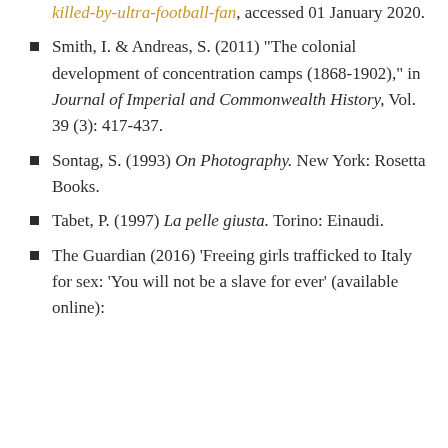killed-by-ultra-football-fan, accessed 01 January 2020.
Smith, I. & Andreas, S. (2011) “The colonial development of concentration camps (1868-1902),” in Journal of Imperial and Commonwealth History, Vol. 39 (3): 417-437.
Sontag, S. (1993) On Photography. New York: Rosetta Books.
Tabet, P. (1997) La pelle giusta. Torino: Einaudi.
The Guardian (2016) ‘Freeing girls trafficked to Italy for sex: ‘You will not be a slave for ever’ (available online):